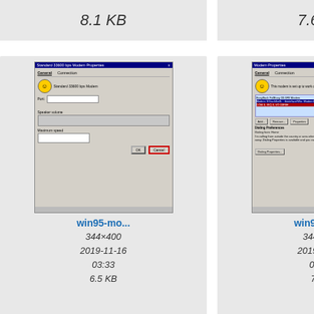8.1 KB
7.6 KB
[Figure (screenshot): Windows 95 modem properties dialog screenshot]
win95-mo...
344×400
2019-11-16
03:33
6.5 KB
[Figure (screenshot): Windows 95 modem properties dialog screenshot second]
win95-mo...
344×400
2019-11-16
03:33
7 KB
[Figure (screenshot): Windows format disk dialog screenshot]
windows...
352×170
2018-09-01
22:43
5.3 KB